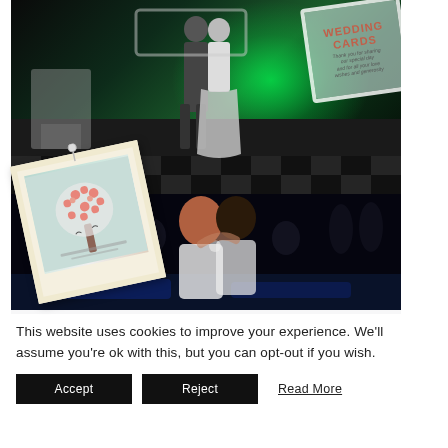[Figure (photo): Wedding dance floor photos: top image shows a couple sharing first dance on a black-and-white checkered floor with green ambient lighting and a fireplace, overlaid with a polaroid of a wedding guestbook tree print and a tilted 'Wedding Cards' framed sign. Bottom image shows a couple kissing on a blue-lit dance floor.]
This website uses cookies to improve your experience. We'll assume you're ok with this, but you can opt-out if you wish.
Accept
Reject
Read More